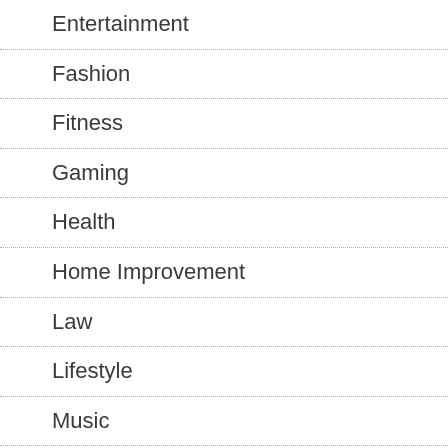Entertainment
Fashion
Fitness
Gaming
Health
Home Improvement
Law
Lifestyle
Music
Recipes
Technology
Travel